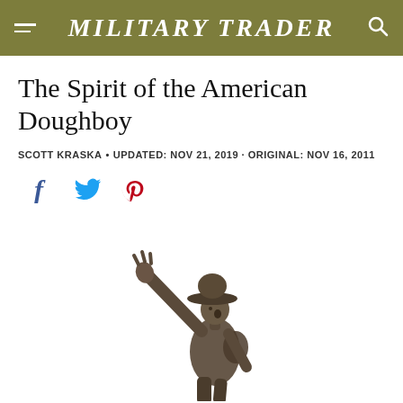Military Trader
The Spirit of the American Doughboy
SCOTT KRASKA • UPDATED: NOV 21, 2019 · ORIGINAL: NOV 16, 2011
[Figure (other): Social media share icons: Facebook (blue f), Twitter (blue bird), Pinterest (red P)]
[Figure (photo): Bronze statue of an American Doughboy soldier from World War I, arm raised and pointing forward, wearing a campaign hat and military pack, photographed against a white/overcast sky.]